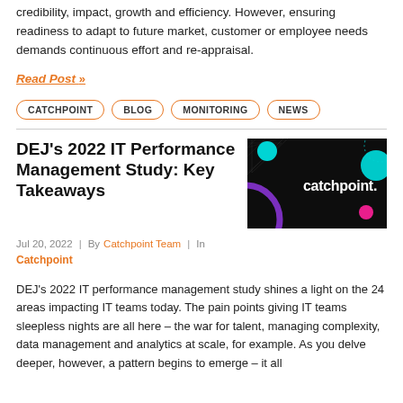credibility, impact, growth and efficiency. However, ensuring readiness to adapt to future market, customer or employee needs demands continuous effort and re-appraisal.
Read Post »
CATCHPOINT
BLOG
MONITORING
NEWS
DEJ's 2022 IT Performance Management Study: Key Takeaways
[Figure (logo): Catchpoint logo on black background with colorful circles and geometric shapes]
Jul 20, 2022  |  By Catchpoint Team  |  In
Catchpoint
DEJ's 2022 IT performance management study shines a light on the 24 areas impacting IT teams today. The pain points giving IT teams sleepless nights are all here – the war for talent, managing complexity, data management and analytics at scale, for example. As you delve deeper, however, a pattern begins to emerge – it all